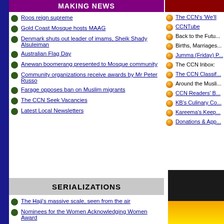MAKING NEWS
Roos reign supreme
Gold Coast Mosque hosts MAAG
Denmark shuts out leader of imams, Sheik Shady Alsuleiman
Australian Flag Day
Anewan boomerang presented to Mosque community
Community organizations receive awards by Mr Peter Russo
Farage opposes ban on Muslim migrants
The CCN Seek Vacancies
Latest Local Newsletters
The CCN's 'We'l...
CCNTube
Back to the Futu...
Births, Marriages...
Jumma (Friday) P...
The CCN Inbox:
The CCN Classif...
Around the Musli...
CCN Readers' B...
KB's Culinary Co...
Kareema's Keep...
Donations & App...
SERIALIZATIONS
The Hajj's massive scale, seen from the air
Nominees for the Women Acknowledging Women Award